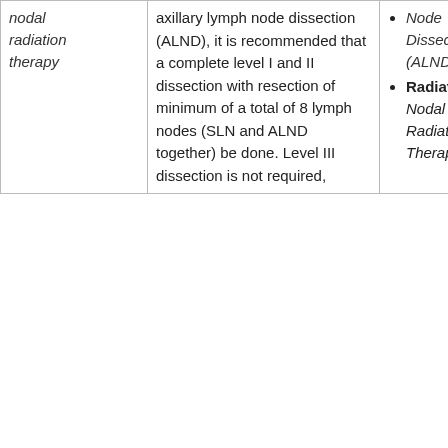| nodal radiation therapy | axillary lymph node dissection (ALND), it is recommended that a complete level I and II dissection with resection of minimum of a total of 8 lymph nodes (SLN and ALND together) be done. Level III dissection is not required, | Node Dissection (ALND)
Radiation: Nodal Radiation Therapy |